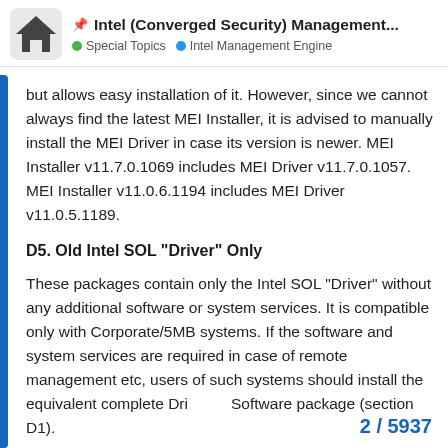📌 Intel (Converged Security) Management... Special Topics  Intel Management Engine
but allows easy installation of it. However, since we cannot always find the latest MEI Installer, it is advised to manually install the MEI Driver in case its version is newer. MEI Installer v11.7.0.1069 includes MEI Driver v11.7.0.1057. MEI Installer v11.0.6.1194 includes MEI Driver v11.0.5.1189.
D5. Old Intel SOL "Driver" Only
These packages contain only the Intel SOL "Driver" without any additional software or system services. It is compatible only with Corporate/5MB systems. If the software and system services are required in case of remote management etc, users of such systems should install the equivalent complete Dri Software package (section D1).
2 / 5937